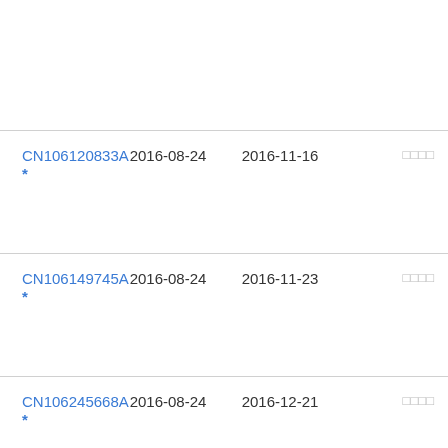| Patent Number | Filing Date | Publication Date |  |
| --- | --- | --- | --- |
| CN106120833A * | 2016-08-24 | 2016-11-16 | □□□□ |
| CN106149745A * | 2016-08-24 | 2016-11-23 | □□□□ |
| CN106245668A * | 2016-08-24 | 2016-12-21 | □□□□ |